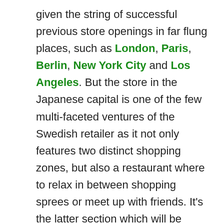given the string of successful previous store openings in far flung places, such as London, Paris, Berlin, New York City and Los Angeles. But the store in the Japanese capital is one of the few multi-faceted ventures of the Swedish retailer as it not only features two distinct shopping zones, but also a restaurant where to relax in between shopping sprees or meet up with friends. It's the latter section which will be rebooted as SNS Café, a bistro-inspired hangout which not only offers tasty American, Swedish and European bites in a homey setting, but some quirky extras as well. Interestingly, the venue also features the SNS Book Club which offers a curated selection of books which have inspired Sneakersnstuff, a listening station with music picked by